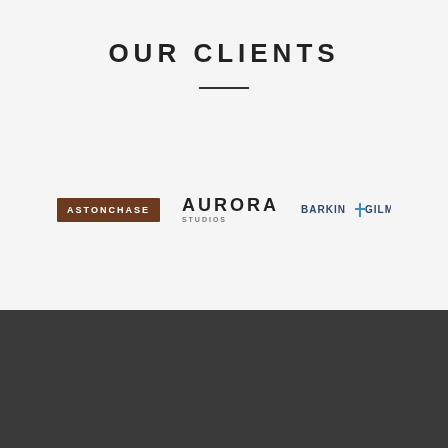OUR CLIENTS
[Figure (logo): Astonchase logo - dark brown background with white text]
[Figure (logo): Aurora Studios logo - dark text with stylized lettering]
[Figure (logo): Barkin Gilman logo - blue text with cross/plus icon]
[Figure (logo): VistaBee logo - circular icon with text]
PAGES
FOLLOW US
UK HQ: Orchard
About Us